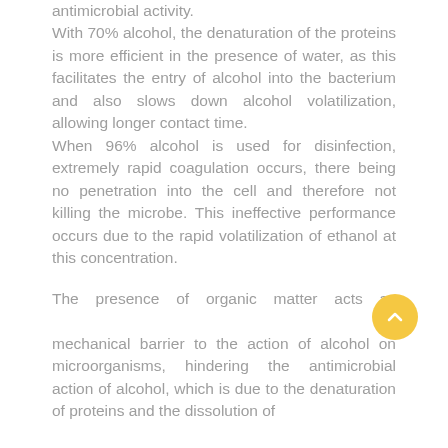antimicrobial activity. With 70% alcohol, the denaturation of the proteins is more efficient in the presence of water, as this facilitates the entry of alcohol into the bacterium and also slows down alcohol volatilization, allowing longer contact time. When 96% alcohol is used for disinfection, extremely rapid coagulation occurs, there being no penetration into the cell and therefore not killing the microbe. This ineffective performance occurs due to the rapid volatilization of ethanol at this concentration.
The presence of organic matter acts as a mechanical barrier to the action of alcohol on microorganisms, hindering the antimicrobial action of alcohol, which is due to the denaturation of proteins and the dissolution of